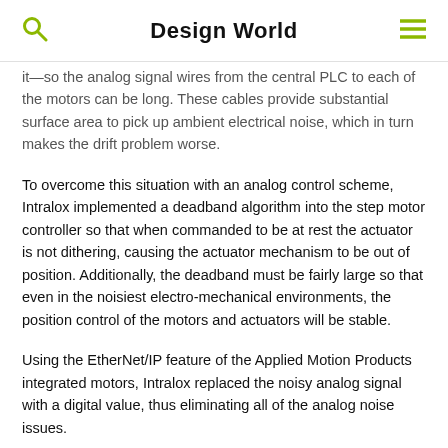Design World
it—so the analog signal wires from the central PLC to each of the motors can be long. These cables provide substantial surface area to pick up ambient electrical noise, which in turn makes the drift problem worse.
To overcome this situation with an analog control scheme, Intralox implemented a deadband algorithm into the step motor controller so that when commanded to be at rest the actuator is not dithering, causing the actuator mechanism to be out of position. Additionally, the deadband must be fairly large so that even in the noisiest electro-mechanical environments, the position control of the motors and actuators will be stable.
Using the EtherNet/IP feature of the Applied Motion Products integrated motors, Intralox replaced the noisy analog signal with a digital value, thus eliminating all of the analog noise issues.